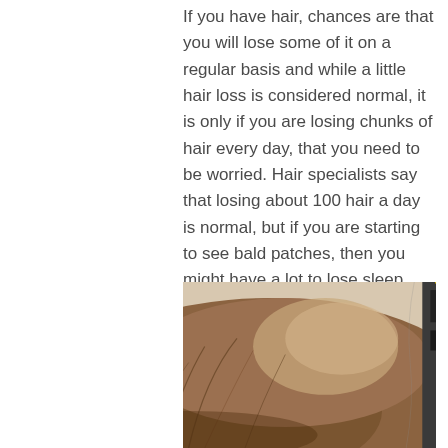If you have hair, chances are that you will lose some of it on a regular basis and while a little hair loss is considered normal, it is only if you are losing chunks of hair every day, that you need to be worried. Hair specialists say that losing about 100 hair a day is normal, but if you are starting to see bald patches, then you might have a lot to lose sleep over.
Talk to anyone and they will have a number of things they will tell you, that lead to hair loss, but the fact of the matter remains that most of these are nothing more than myths.
[Figure (photo): Photograph of the top of a person's head showing thinning/balding hair, with electronic equipment and cables visible in the background]